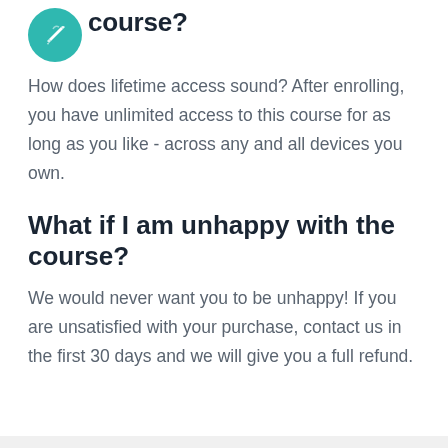course?
[Figure (logo): Teal circular icon with a stylized pencil/writing symbol in white]
How does lifetime access sound? After enrolling, you have unlimited access to this course for as long as you like - across any and all devices you own.
What if I am unhappy with the course?
We would never want you to be unhappy! If you are unsatisfied with your purchase, contact us in the first 30 days and we will give you a full refund.